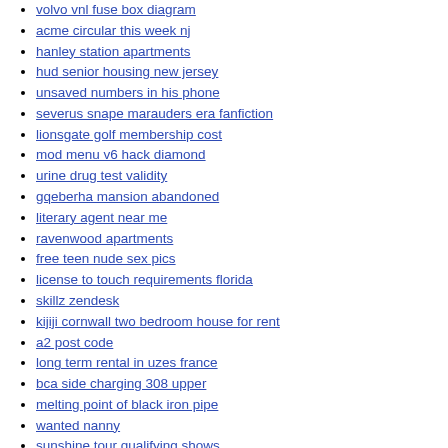volvo vnl fuse box diagram
acme circular this week nj
hanley station apartments
hud senior housing new jersey
unsaved numbers in his phone
severus snape marauders era fanfiction
lionsgate golf membership cost
mod menu v6 hack diamond
urine drug test validity
gqeberha mansion abandoned
literary agent near me
ravenwood apartments
free teen nude sex pics
license to touch requirements florida
skillz zendesk
kijiji cornwall two bedroom house for rent
a2 post code
long term rental in uzes france
bca side charging 308 upper
melting point of black iron pipe
wanted nanny
sunshine tour qualifying shows
fast bitcoin generator apk
lapd radio scanner
gallatin apartments wauwatosa